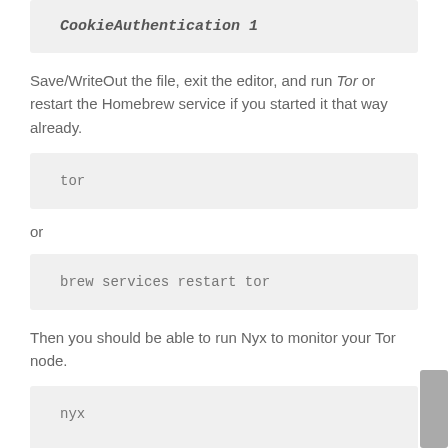CookieAuthentication 1
Save/WriteOut the file, exit the editor, and run Tor or restart the Homebrew service if you started it that way already.
tor
or
brew services restart tor
Then you should be able to run Nyx to monitor your Tor node.
nyx